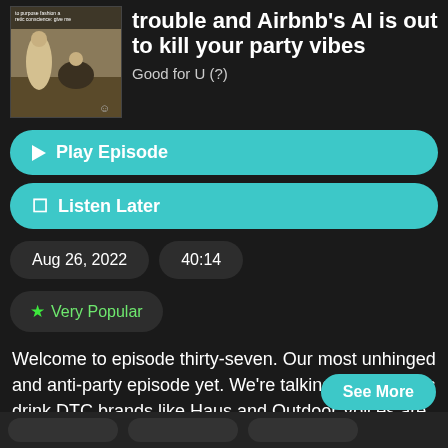[Figure (photo): Podcast cover art thumbnail with desert/historical scene and text overlay]
trouble and Airbnb's AI is out to kill your party vibes
Good for U (?)
▶ Play Episode
🔖 Listen Later
Aug 26, 2022
40:14
★ Very Popular
Welcome to episode thirty-seven. Our most unhinged and anti-party episode yet. We're talking: This week's drink DTC brands like Haus and Outdoor Voices are in trouble. Good for who? Airbnb's anti party
See More